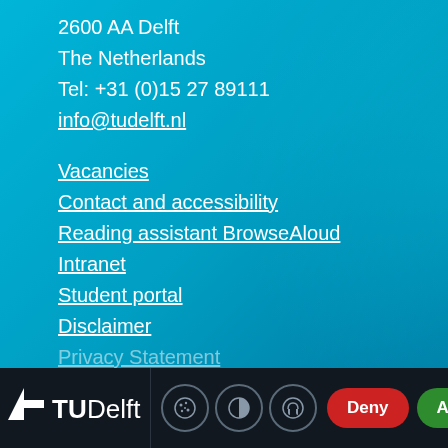2600 AA Delft
The Netherlands
Tel: +31 (0)15 27 89111
info@tudelft.nl
Vacancies
Contact and accessibility
Reading assistant BrowseAloud
Intranet
Student portal
Disclaimer
Privacy Statement
This website uses cookies. By clicking "accept" you give your permission to this website to use cookies. What are cookies?
[Figure (logo): TU Delft logo with stylized arrow icon and text TUDelft]
[Figure (infographic): Cookie settings icon, contrast icon, and audio/headphone icon in dark footer bar with Deny and Accept buttons]